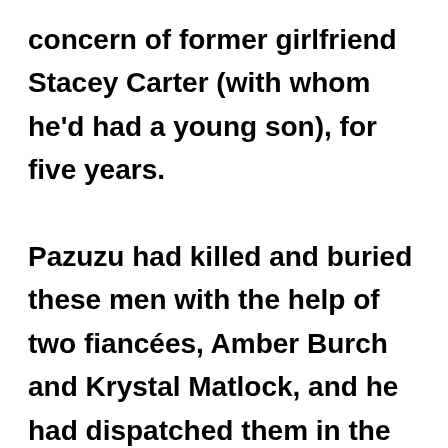concern of former girlfriend Stacey Carter (with whom he'd had a young son), for five years.

Pazuzu had killed and buried these men with the help of two fiancées, Amber Burch and Krystal Matlock, and he had dispatched them in the presence of his mother Cynthia, with whom he lived.

Those facts, coupled with Pazuzu's devil